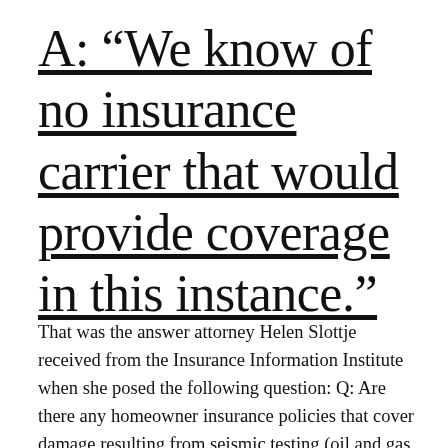A: “We know of no insurance carrier that would provide coverage in this instance.”
That was the answer attorney Helen Slottje received from the Insurance Information Institute when she posed the following question: Q: Are there any homeowner insurance policies that cover damage resulting from seismic testing (oil and gas exploration) or drilling activities, be they...